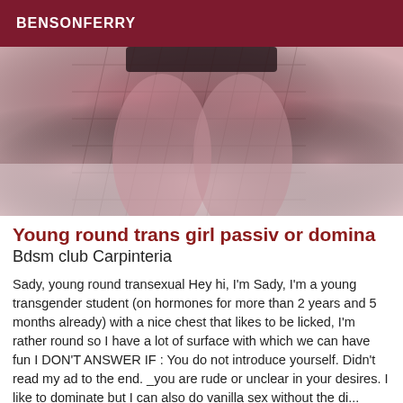BENSONFERRY
[Figure (photo): Close-up photo of legs wearing fishnet stockings against a blurred light background]
Young round trans girl passiv or domina
Bdsm club Carpinteria
Sady, young round transexual Hey hi, I'm Sady, I'm a young transgender student (on hormones for more than 2 years and 5 months already) with a nice chest that likes to be licked, I'm rather round so I have a lot of surface with which we can have fun I DON'T ANSWER IF : You do not introduce yourself. Didn't read my ad to the end. _you are rude or unclear in your desires. I like to dominate but I can also do vanilla sex without the discourse of dominance. Everything I don't cite...